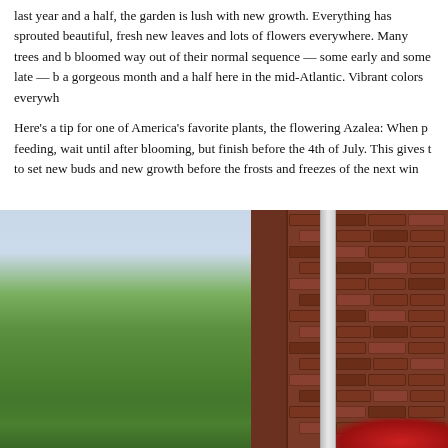last year and a half, the garden is lush with new growth. Everything has sprouted beautiful, fresh new leaves and lots of flowers everywhere. Many trees and bloomed way out of their normal sequence — some early and some late — b a gorgeous month and a half here in the mid-Atlantic. Vibrant colors everywh
Here's a tip for one of America's favorite plants, the flowering Azalea: When feeding, wait until after blooming, but finish before the 4th of July. This gives to set new buds and new growth before the frosts and freezes of the next win
[Figure (photo): Outdoor garden photo showing lush green trees on the left side with overcast sky, and a brick building facade on the right side with a white downspout/drainpipe, red flowers visible at the bottom right corner.]